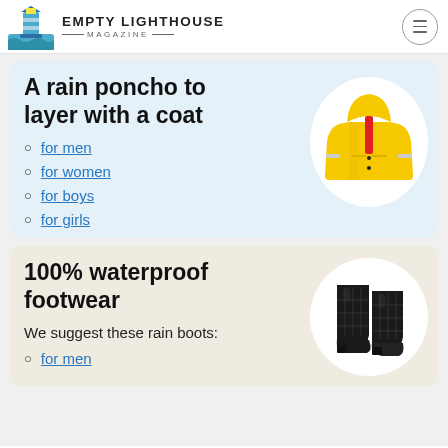EMPTY LIGHTHOUSE MAGAZINE
A rain poncho to layer with a coat
for men
for women
for boys
for girls
[Figure (photo): Yellow rain jacket/poncho with reflective strips and hood]
100% waterproof footwear
We suggest these rain boots:
[Figure (photo): Black quilted rain boots]
for men